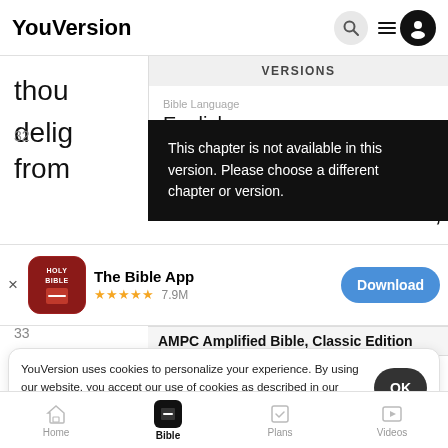YouVersion
VERSIONS
Bible Language
English
Change Language
This chapter is not available in this version. Please choose a different chapter or version.
thou
delight
32
aside
from
d,
[Figure (screenshot): The Bible App icon - red rounded square with HOLY BIBLE text and book illustration]
The Bible App
★★★★★ 7.9M
Download
AMPC Amplified Bible, Classic Edition
hath
33
a
YouVersion uses cookies to personalize your experience. By using our website, you accept our use of cookies as described in our Privacy Policy.
OK
Home  Bible  Plans  Videos